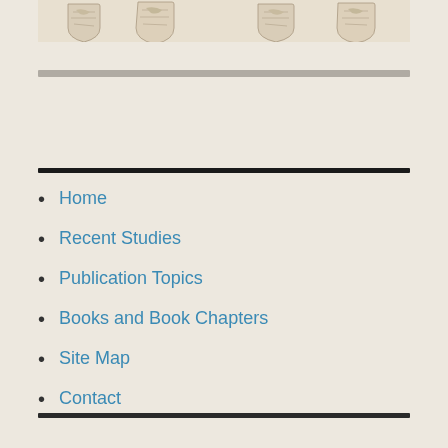[Figure (illustration): Decorative row of historical map shield/cartouche illustrations in beige/sepia tones]
Home
Recent Studies
Publication Topics
Books and Book Chapters
Site Map
Contact